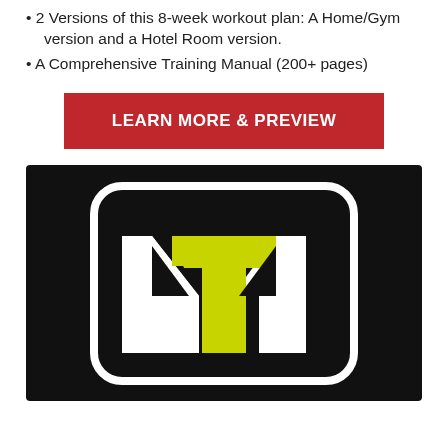2 Versions of this 8-week workout plan: A Home/Gym version and a Hotel Room version.
A Comprehensive Training Manual (200+ pages)
[Figure (other): Red button with white bold text reading LEARN MORE & PREVIEW]
[Figure (logo): MTM logo on black background - stylized M and T letters combined, white with yellow-green accent, inside a rounded rectangle outline]